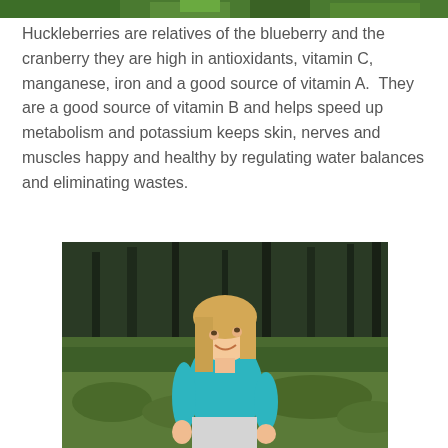[Figure (photo): Partial top strip of a nature/plant photo (huckleberry plants), cropped at top of page]
Huckleberries are relatives of the blueberry and the cranberry they are high in antioxidants, vitamin C, manganese, iron and a good source of vitamin A.  They are a good source of vitamin B and helps speed up metabolism and potassium keeps skin, nerves and muscles happy and healthy by regulating water balances and eliminating wastes.
[Figure (photo): A young blonde girl wearing a teal/turquoise t-shirt, smiling, standing in a green forested area with trees and shrubs in the background.]